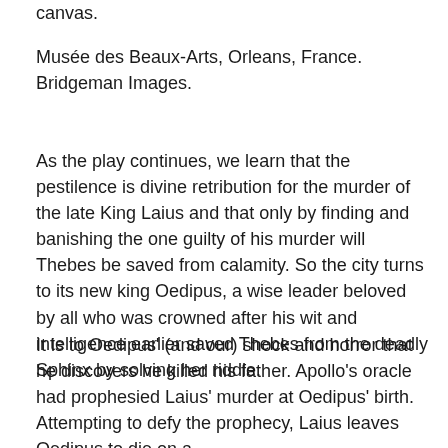canvas.
Musée des Beaux-Arts, Orleans, France. Bridgeman Images.
As the play continues, we learn that the pestilence is divine retribution for the murder of the late King Laius and that only by finding and banishing the one guilty of his murder will Thebes be saved from calamity. So the city turns to its new king Oedipus, a wise leader beloved by all who was crowned after his wit and intelligence earlier saved Thebes from the deadly Sphinx by solving her riddle.
It is to Oedipus' (and our) shock and horror that he discovers he killed his father. Apollo's oracle had prophesied Laius' murder at Oedipus' birth. Attempting to defy the prophecy, Laius leaves Oedipus to die on a